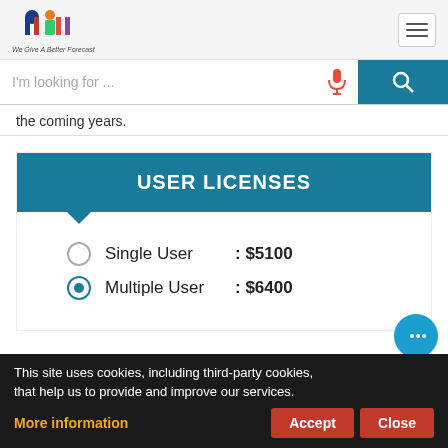[Figure (logo): MIT logo with colorful M figure and text 'We Give A Better Forecast']
I'm looking for ...
the coming years.
USER LICENSES
Single User : $5100
Multiple User : $6400
This site uses cookies, including third-party cookies, that help us to provide and improve our services.
More information